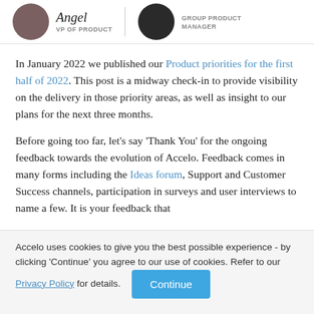Angel VP OF PRODUCT | GROUP PRODUCT MANAGER
In January 2022 we published our Product priorities for the first half of 2022. This post is a midway check-in to provide visibility on the delivery in those priority areas, as well as insight to our plans for the next three months.
Before going too far, let's say 'Thank You' for the ongoing feedback towards the evolution of Accelo. Feedback comes in many forms including the Ideas forum, Support and Customer Success channels, participation in surveys and user interviews to name a few. It is your feedback that
Accelo uses cookies to give you the best possible experience - by clicking 'Continue' you agree to our use of cookies. Refer to our Privacy Policy for details. Continue